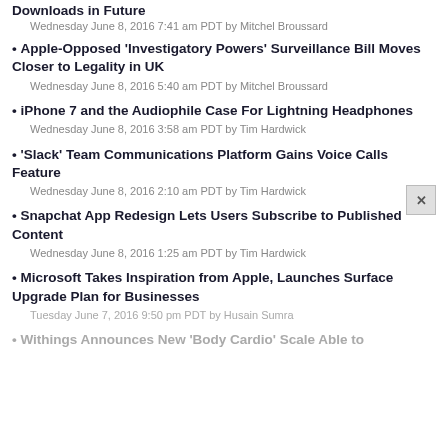Downloads in Future
Wednesday June 8, 2016 7:41 am PDT by Mitchel Broussard
Apple-Opposed 'Investigatory Powers' Surveillance Bill Moves Closer to Legality in UK
Wednesday June 8, 2016 5:40 am PDT by Mitchel Broussard
iPhone 7 and the Audiophile Case For Lightning Headphones
Wednesday June 8, 2016 3:58 am PDT by Tim Hardwick
'Slack' Team Communications Platform Gains Voice Calls Feature
Wednesday June 8, 2016 2:10 am PDT by Tim Hardwick
Snapchat App Redesign Lets Users Subscribe to Published Content
Wednesday June 8, 2016 1:25 am PDT by Tim Hardwick
Microsoft Takes Inspiration from Apple, Launches Surface Upgrade Plan for Businesses
Tuesday June 7, 2016 9:50 pm PDT by Husain Sumra
Withings Announces New 'Body Cardio' Scale Able to